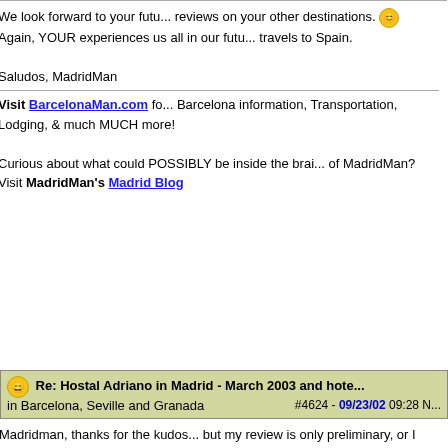Registered: 05/06/00
Posts: 10011
Loc: Madrid, Spain (was Columbus, O...
We look forward to your future reviews on your other destinations. Again, YOUR experiences us all in our future travels to Spain.

Saludos, MadridMan
Visit BarcelonaMan.com for Barcelona information, Transportation, Lodging, & much MUCH more!

Curious about what could POSSIBLY be inside the brain of MadridMan? Visit MadridMan's Madrid Blog
Top
Re: Hostal Adriano in Madrid - March 2003 and hotels in Barcelona, Seville and Granada  #4624 - 09/23/02 09:28
Lipstique
Member
Registered:
Madridman, thanks for the kudos but my review is only preliminary, or I should say just based on the emails that I have swapped with the owner. I'm really looking